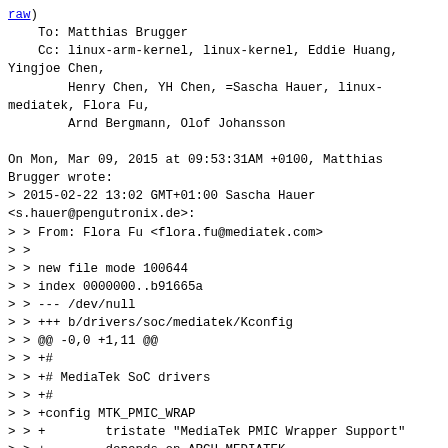raw)
    To: Matthias Brugger
    Cc: linux-arm-kernel, linux-kernel, Eddie Huang,
Yingjoe Chen,
        Henry Chen, YH Chen, =Sascha Hauer, linux-
mediatek, Flora Fu,
        Arnd Bergmann, Olof Johansson

On Mon, Mar 09, 2015 at 09:53:31AM +0100, Matthias
Brugger wrote:
> 2015-02-22 13:02 GMT+01:00 Sascha Hauer
<s.hauer@pengutronix.de>:
> > From: Flora Fu <flora.fu@mediatek.com>
> >
> > new file mode 100644
> > index 0000000..b91665a
> > --- /dev/null
> > +++ b/drivers/soc/mediatek/Kconfig
> > @@ -0,0 +1,11 @@
> > +#
> > +# MediaTek SoC drivers
> > +#
> > +config MTK_PMIC_WRAP
> > +        tristate "MediaTek PMIC Wrapper Support"
> > +        depends on ARCH_MEDIATEK
> > +        select REGMAP
> > +        help
> > +          Say yes here to add support for MediaTek
PMIC Wrapper found
> > +          on the MT8135 and MT8173 SoCs. The PMIC